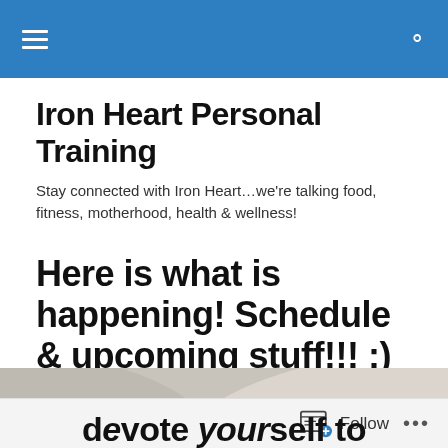Iron Heart Personal Training — navigation header
Iron Heart Personal Training
Stay connected with Iron Heart…we're talking food, fitness, motherhood, health & wellness!
Here is what is happening! Schedule & upcoming stuff!!! :)
[Figure (photo): Greyscale image with text reading 'devote yourself to an idea?']
Follow  •••